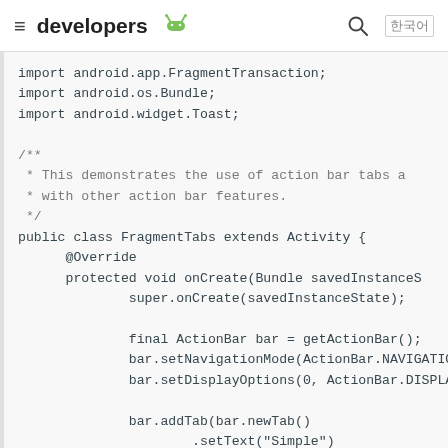≡ developers 🤖 🔍 한국어
import android.app.FragmentTransaction;
import android.os.Bundle;
import android.widget.Toast;

/**
 * This demonstrates the use of action bar tabs a
 * with other action bar features.
 */
public class FragmentTabs extends Activity {
    @Override
    protected void onCreate(Bundle savedInstanceS
            super.onCreate(savedInstanceState);

            final ActionBar bar = getActionBar();
            bar.setNavigationMode(ActionBar.NAVIGATIO
            bar.setDisplayOptions(0, ActionBar.DISPLA

            bar.addTab(bar.newTab()
                    .setText("Simple")
                    .setTabListener(new TabListener<F